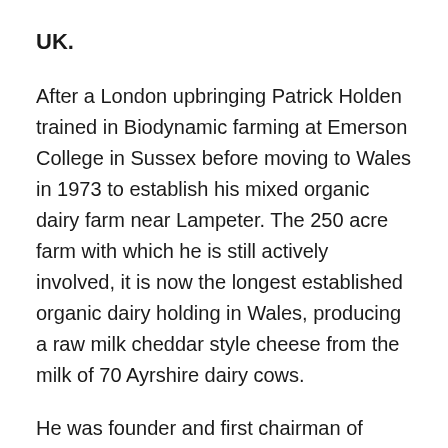UK.
After a London upbringing Patrick Holden trained in Biodynamic farming at Emerson College in Sussex before moving to Wales in 1973 to establish his mixed organic dairy farm near Lampeter. The 250 acre farm with which he is still actively involved, it is now the longest established organic dairy holding in Wales, producing a raw milk cheddar style cheese from the milk of 70 Ayrshire dairy cows.
He was founder and first chairman of British Organic Farmers, a producer group which